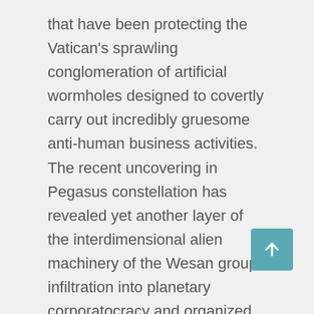that have been protecting the Vatican's sprawling conglomeration of artificial wormholes designed to covertly carry out incredibly gruesome anti-human business activities. The recent uncovering in Pegasus constellation has revealed yet another layer of the interdimensional alien machinery of the Wesan groups infiltration into planetary corporatocracy and organized religions, with the epicenter being the Vatican. As well as the many secret space program's military groups using advanced technologies for the purpose of protecting the NAA's criminal interests, such as the Vatican portals and tunnels under the Mediterranean Sea that reach all over the globe, along with the well-organized Black Nobility hierarchies that run human and child trafficking